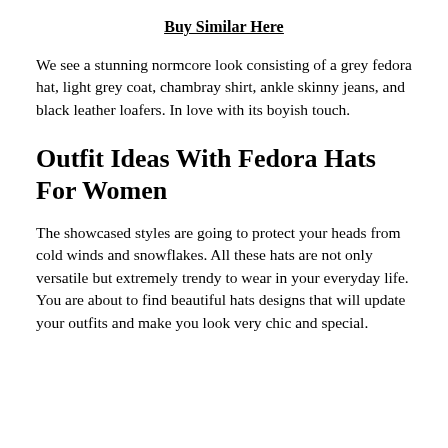Buy Similar Here
We see a stunning normcore look consisting of a grey fedora hat, light grey coat, chambray shirt, ankle skinny jeans, and black leather loafers. In love with its boyish touch.
Outfit Ideas With Fedora Hats For Women
The showcased styles are going to protect your heads from cold winds and snowflakes. All these hats are not only versatile but extremely trendy to wear in your everyday life. You are about to find beautiful hats designs that will update your outfits and make you look very chic and special.